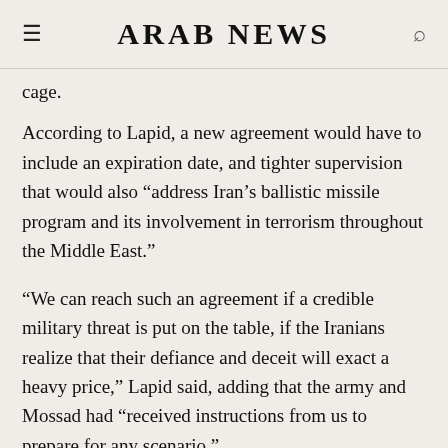ARAB NEWS
cage.
According to Lapid, a new agreement would have to include an expiration date, and tighter supervision that would also “address Iran’s ballistic missile program and its involvement in terrorism throughout the Middle East.”
“We can reach such an agreement if a credible military threat is put on the table, if the Iranians realize that their defiance and deceit will exact a heavy price,” Lapid said, adding that the army and Mossad had “received instructions from us to prepare for any scenario.”
On Wednesday, Lapid said a new deal would “give Iran $100 billion a year” that would be used by